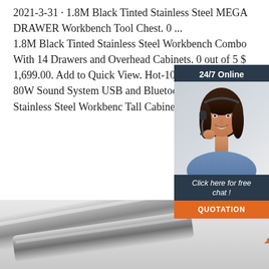2021-3-31 · 1.8M Black Tinted Stainless Steel MEGA DRAWER Workbench Tool Chest. 0 ... 1.8M Black Tinted Stainless Steel Workbench Combo With 14 Drawers and Overhead Cabinets. 0 out of 5 $ 1,699.00. Add to Quick View. Hot-10%. Retro JukeBox 80W Sound System USB and Bluetooth Black Tinted Stainless Steel Workbench Tall Cabinet ...
[Figure (other): 24/7 Online chat widget with a woman wearing a headset, and a 'Click here for free chat!' message with a QUOTATION button]
Get Price
[Figure (photo): Bottom portion of a page showing metallic/chrome rods or tubes on a light gray background, with a TOP button in the lower right corner]